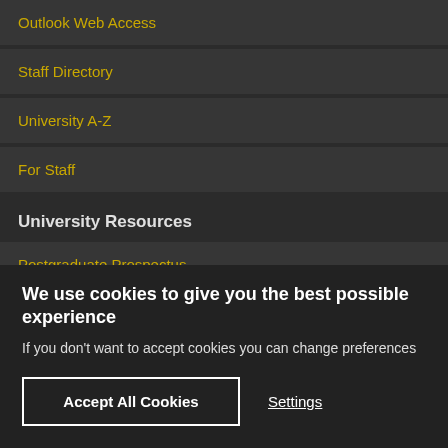Outlook Web Access
Staff Directory
University A-Z
For Staff
University Resources
Postgraduate Prospectus
Funding Database
Huw...l T...l
We use cookies to give you the best possible experience
If you don't want to accept cookies you can change preferences
Accept All Cookies
Settings